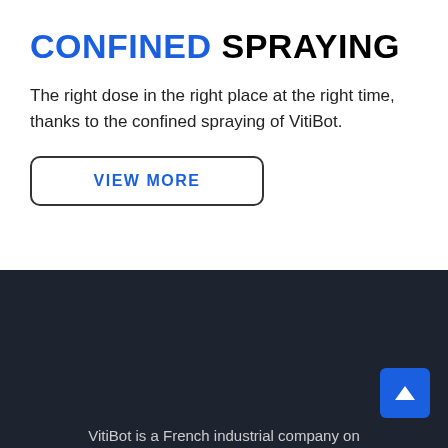CONFINED SPRAYING
The right dose in the right place at the right time, thanks to the confined spraying of VitiBot.
VIEW MORE
[Figure (other): Dark navy footer section with a blue scroll-to-top button (arrow pointing up) in the bottom right corner]
VitiBot is a French industrial company on